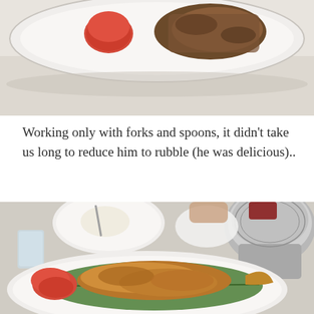[Figure (photo): Top portion of a white plate with food including what appears to be tomatoes and a dish with sauce, on a light surface, cropped at top of page.]
Working only with forks and spoons, it didn't take us long to reduce him to rubble (he was delicious)..
[Figure (photo): A white plate with the remains of a fried fish served on a banana leaf, with tomato slices. In the background is a rice plate with a fork, a glass, a napkin, and a large decorative silver pot. A person's hands are visible in the upper background.]